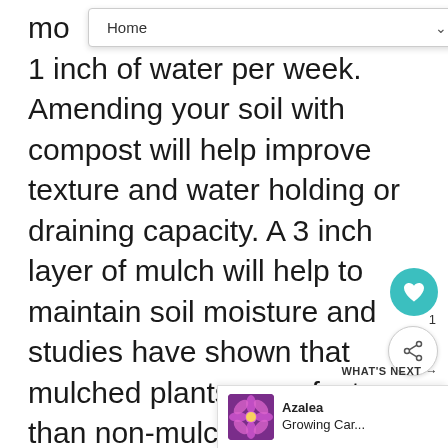Home
mo... t 1 inch of water per week. Amending your soil with compost will help improve texture and water holding or draining capacity. A 3 inch layer of mulch will help to maintain soil moisture and studies have shown that mulched plants grow faster than non-mulched plants.
Conditions : Outdoor Watering
Plants are almost completely made up of water so it is important to supply them with adequate water to maintain good plant health. Not enough water and roots will wither and the plant will wilt and die. Too much water applied too frequently deprives roots of oxygen leading
[Figure (other): What's Next promotional widget showing Azalea Growing Care article with purple flower thumbnail]